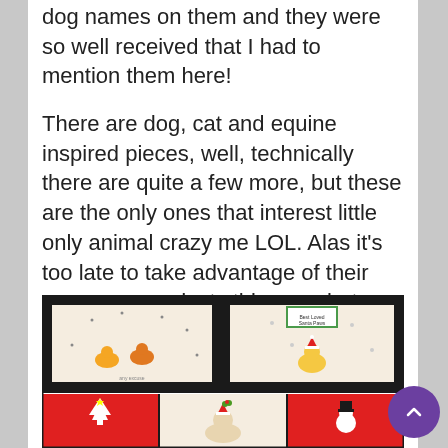dog names on them and they were so well received that I had to mention them here!
There are dog, cat and equine inspired pieces, well, technically there are quite a few more, but these are the only ones that interest little only animal crazy me LOL. Alas it's too late to take advantage of their awesome products this year, but they have new designs coming out in 2022 including some for home decor!
[Figure (photo): A grid of holiday/Christmas themed cards or fabric panels featuring illustrated animals. Top row: left panel shows orange cartoon dogs with fireworks on dark grid background; right panel shows a dog dressed as Santa with snowflakes and a 'Best Loved Santa Paws' sign. Bottom row: three panels — left shows a red background with a white Christmas tree, center shows a cream background with a cat in Santa hat, right shows a red background with a snowman.]